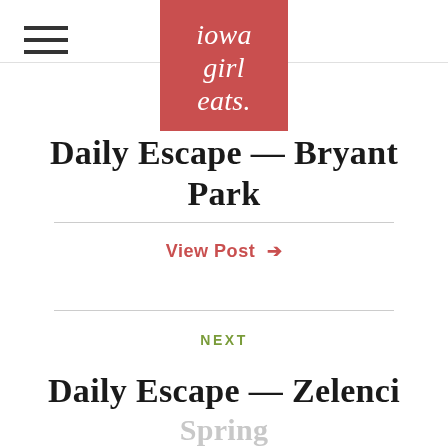[Figure (logo): Iowa Girl Eats logo — red/salmon square with white italic serif text reading 'iowa girl eats.']
Daily Escape — Bryant Park
View Post →
NEXT
Daily Escape — Zelenci Spring